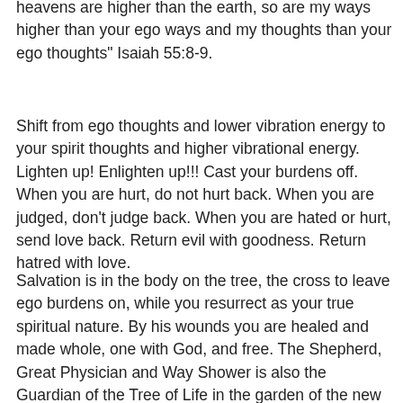heavens are higher than the earth, so are my ways higher than your ego ways and my thoughts than your ego thoughts" Isaiah 55:8-9.
Shift from ego thoughts and lower vibration energy to your spirit thoughts and higher vibrational energy. Lighten up! Enlighten up!!! Cast your burdens off. When you are hurt, do not hurt back. When you are judged, don't judge back. When you are hated or hurt, send love back. Return evil with goodness. Return hatred with love.
Salvation is in the body on the tree, the cross to leave ego burdens on, while you resurrect as your true spiritual nature. By his wounds you are healed and made whole, one with God, and free. The Shepherd, Great Physician and Way Shower is also the Guardian of the Tree of Life in the garden of the new heaven on earth now (1 Peter 2:21-